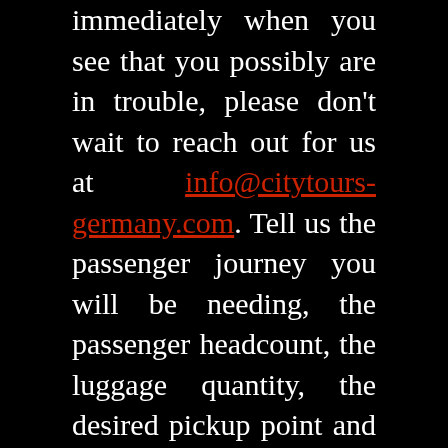immediately when you see that you possibly are in trouble, please don't wait to reach out for us at info@citytours-germany.com. Tell us the passenger journey you will be needing, the passenger headcount, the luggage quantity, the desired pickup point and the last destination address. Our SOS operators will notify you when at the earliest we are able to make a stand-in vehicle show up at your collapse address as well as how much the cost of the SOS assistance will sum up to. Consecutively, it's your ruling whether you take the relief coach which is ready for you.